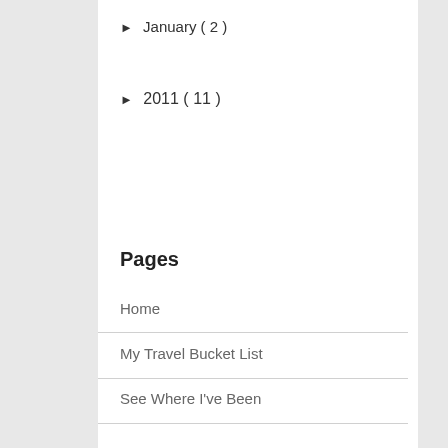► January ( 2 )
► 2011 ( 11 )
Pages
Home
My Travel Bucket List
See Where I've Been